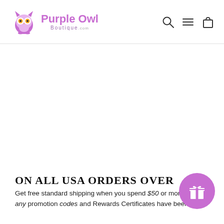[Figure (logo): Purple Owl Boutique logo with purple owl icon and stylized text 'Purple Owl Boutique.com']
[Figure (infographic): Navigation icons: search (magnifying glass), menu (hamburger lines), cart (shopping bag)]
ON ALL USA ORDERS OVER
Get free standard shipping when you spend $50 or more after any promotion codes and Rewards Certificates have been